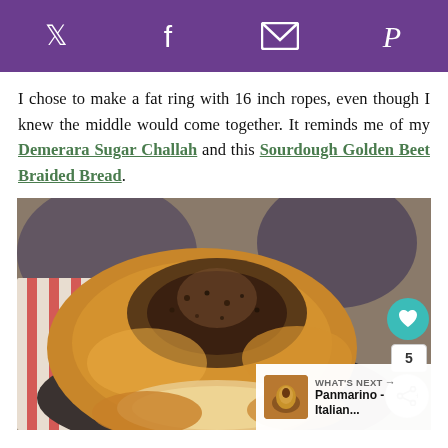Social share bar with Twitter, Facebook, Email, Pinterest icons
I chose to make a fat ring with 16 inch ropes, even though I knew the middle would come together. It reminds me of my Demerara Sugar Challah and this Sourdough Golden Beet Braided Bread.
[Figure (photo): Close-up photo of a golden-brown braided bread ring topped with sesame seeds or similar toppings, on a dark plate with a red-striped cloth in background. Overlays show a heart/favorite button with count 5, a share button, and a 'What's Next' panel for Panmarino - Italian...]